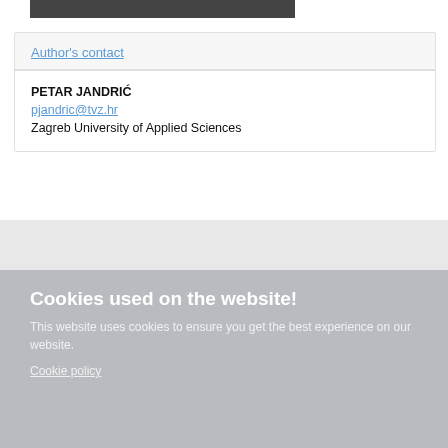[Figure (other): Dark header bar partially visible at top of page]
Author's contact
PETAR JANDRIĆ
pjandric@tvz.hr
Zagreb University of Applied Sciences
Cookies used on the website!
This website uses cookies to ensure you get the best experience on our website.
Cookie policy
Privacy policy | Home | About Us | Events | Our Team | Contributors | © 2009 Addleton Aca
Decline  Allow cookies